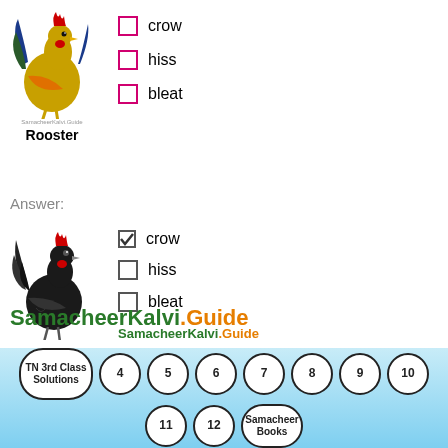[Figure (illustration): Colorful rooster image with SamacheerKalvi.Guide watermark, labeled Rooster]
crow
hiss
bleat
Answer:
[Figure (illustration): Black rooster image labeled Rooster with crow checked, SamacheerKalvi.Guide watermark]
crow (checked)
hiss
bleat
Crow
SamacheerKalvi.Guide
C. Name the animal and sound it makes.
[Figure (infographic): Navigation bubbles: TN 3rd Class Solutions, 4, 5, 6, 7, 8, 9, 10, 11, 12, Samacheer Books]